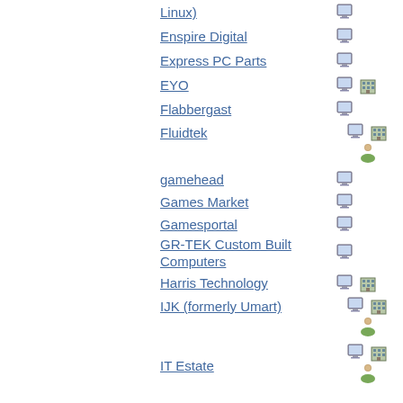Linux)
Enspire Digital
Express PC Parts
EYO
Flabbergast
Fluidtek
gamehead
Games Market
Gamesportal
GR-TEK Custom Built Computers
Harris Technology
IJK (formerly Umart)
IT Estate
I-Tech Group
IPS Intelligent Systems
ITeLECTRICAL Computers
IT Tools